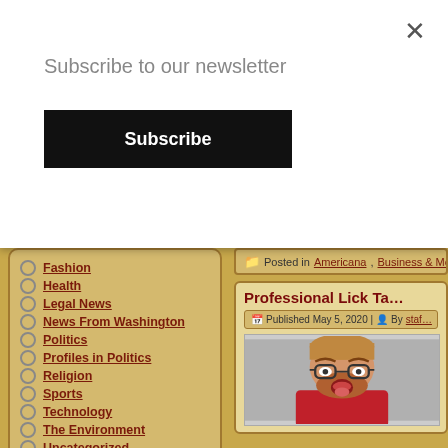Subscribe to our newsletter
Subscribe
Fashion
Health
Legal News
News From Washington
Politics
Profiles in Politics
Religion
Sports
Technology
The Environment
Uncategorized
War on Terrorism
[Figure (photo): Amazon logo and book advertisement widget]
Posted in Americana, Business & Mo...
Professional Lick Ta...
Published May 5, 2020 | By staf...
[Figure (photo): Surprised red-haired bearded man with glasses and open mouth wearing red shirt]